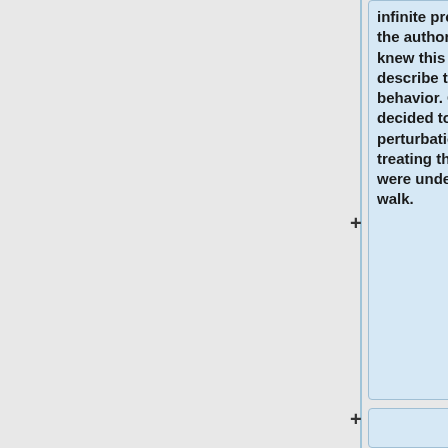infinite propagation speeds; the authors consequently knew this would not accurately describe the system's behavior. Consequently, they decided to model the perturbation kinetics by treating the particles as if they were undergoing a random walk.